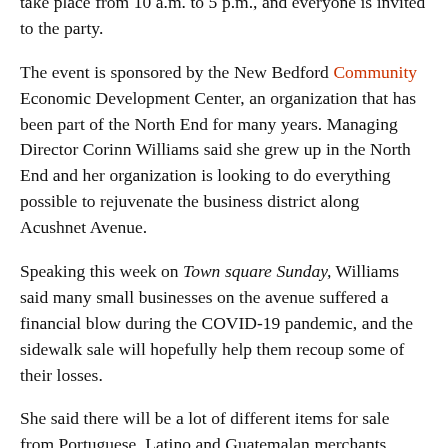take place from 10 a.m. to 5 p.m., and everyone is invited to the party.
The event is sponsored by the New Bedford Community Economic Development Center, an organization that has been part of the North End for many years. Managing Director Corinn Williams said she grew up in the North End and her organization is looking to do everything possible to rejuvenate the business district along Acushnet Avenue.
Speaking this week on Town square Sunday, Williams said many small businesses on the avenue suffered a financial blow during the COVID-19 pandemic, and the sidewalk sale will hopefully help them recoup some of their losses.
She said there will be a lot of different items for sale from Portuguese, Latino and Guatemalan merchants. Entertainment and activities for children will also be on the program. At lunchtime you can enjoy delicious dishes in the many and varied